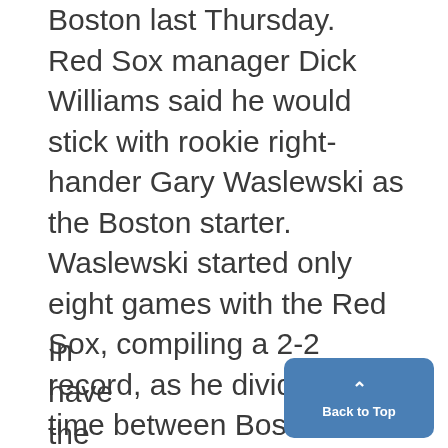Boston last Thursday. Red Sox manager Dick Williams said he would stick with rookie right-hander Gary Waslewski as the Boston starter. Waslewski started only eight games with the Red Sox, compiling a 2-2 record, as he divided his time between Boston and Toronto of'the Inter-
In
have
the